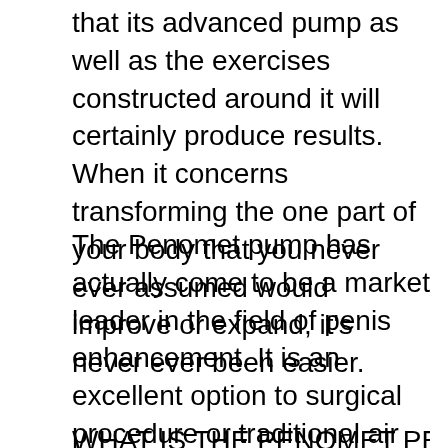that its advanced pump as well as the exercises constructed around it will certainly produce results. When it concerns transforming the one part of your body that you never ever assumed would improve or expand, it's never ever been easier.
The Penomet pump has actually come to be a market leader in the field of penis enhancement. It is an excellent option to surgical procedure or traditional air pumps.
WHAT IS THE PENOMET PENIS PUMP?
The Penomet pump is an advanced gadget. Because it is easy and efficient, it has actually controlled the market since it was first released. This Hydropump has...